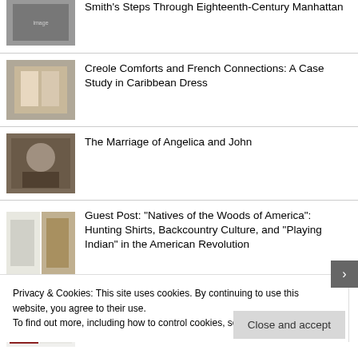Smith’s Steps Through Eighteenth-Century Manhattan
Creole Comforts and French Connections: A Case Study in Caribbean Dress
The Marriage of Angelica and John
Guest Post: “Natives of the Woods of America”: Hunting Shirts, Backcountry Culture, and “Playing Indian” in the American Revolution
Dissertating with Scrivener
Privacy & Cookies: This site uses cookies. By continuing to use this website, you agree to their use.
To find out more, including how to control cookies, see here: Cookie Policy
Close and accept